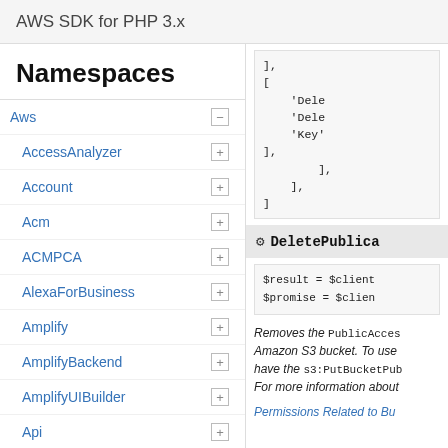AWS SDK for PHP 3.x
Namespaces
Aws
AccessAnalyzer
Account
Acm
ACMPCA
AlexaForBusiness
Amplify
AmplifyBackend
AmplifyUIBuilder
Api
ApiGateway
ApiGatewayManagementApi
[Figure (screenshot): Code snippet showing PHP array with 'Dele', 'Dele', 'Key' entries]
DeletePublicA...
[Figure (screenshot): Code block: $result = $client... $promise = $clien...]
Removes the PublicAccess... Amazon S3 bucket. To use... have the s3:PutBucketPub... For more information about...
Permissions Related to Bu...